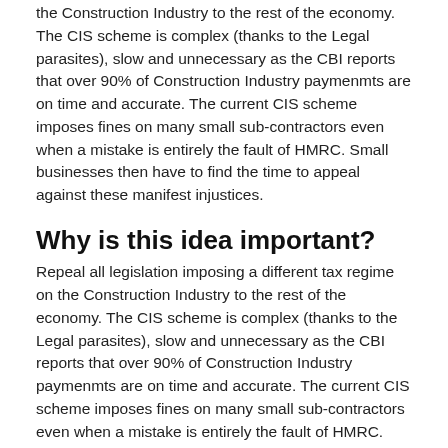the Construction Industry to the rest of the economy. The CIS scheme is complex (thanks to the Legal parasites), slow and unnecessary as the CBI reports that over 90% of Construction Industry paymenmts are on time and accurate. The current CIS scheme imposes fines on many small sub-contractors even when a mistake is entirely the fault of HMRC. Small businesses then have to find the time to appeal against these manifest injustices.
Why is this idea important?
Repeal all legislation imposing a different tax regime on the Construction Industry to the rest of the economy. The CIS scheme is complex (thanks to the Legal parasites), slow and unnecessary as the CBI reports that over 90% of Construction Industry paymenmts are on time and accurate. The current CIS scheme imposes fines on many small sub-contractors even when a mistake is entirely the fault of HMRC. Small businesses then have to find the time to appeal against these manifest injustices.